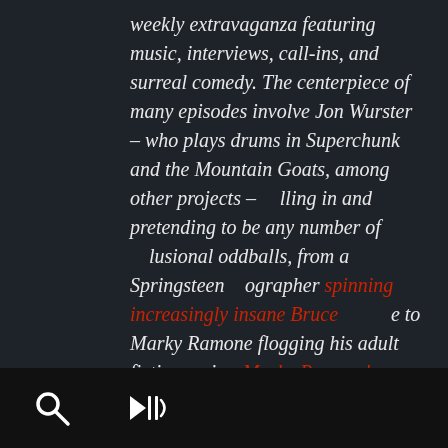weekly extravaganza featuring music, interviews, call-ins, and surreal comedy. The centerpiece of many episodes involve Jon Wurster – who plays drums in Superchunk and the Mountain Goats, among other projects – calling in and pretending to be any number of delusional oddballs, from a Springsteen biographer spinning increasingly insane Bruce theories to Marky Ramone flogging his adult fiction series, Marky Ramone's Erotic Knights. Listeners have come to know Scharpling's
[Figure (screenshot): Social media share buttons panel on left side: back arrow, Instagram, Facebook, Twitter]
[Figure (screenshot): Bottom navigation bar with search icon and audio/speaker icon]